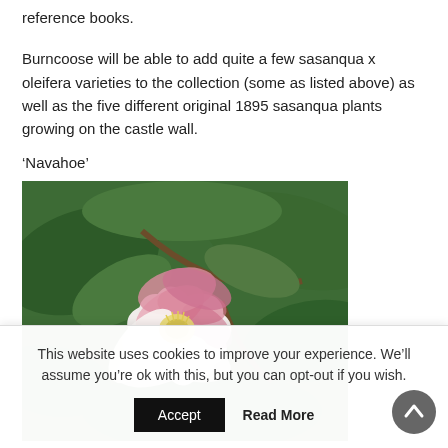reference books.
Burncoose will be able to add quite a few sasanqua x oleifera varieties to the collection (some as listed above) as well as the five different original 1895 sasanqua plants growing on the castle wall.
‘Navahoe’
[Figure (photo): Close-up photograph of a pink and white camellia sasanqua flower with green leaves in the background.]
This website uses cookies to improve your experience. We’ll assume you’re ok with this, but you can opt-out if you wish.
Accept   Read More